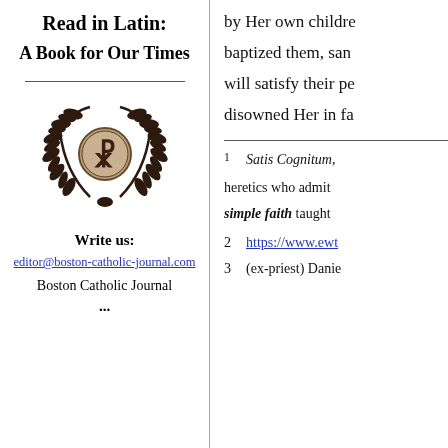Read in Latin:
A Book for Our Times
[Figure (illustration): Circular emblem with Chi-Rho symbol in center surrounded by laurel wreath branches, in dark brown/black]
Write us:
editor@boston-catholic-journal.com
Boston Catholic Journal
by Her own children, baptized them, sanctified them, will satisfy their peverse desires, disowned Her in fa...
1  Satis Cognitum, heretics who admit simple faith taught
2  https://www.ewt...
3  (ex-priest) Danie...